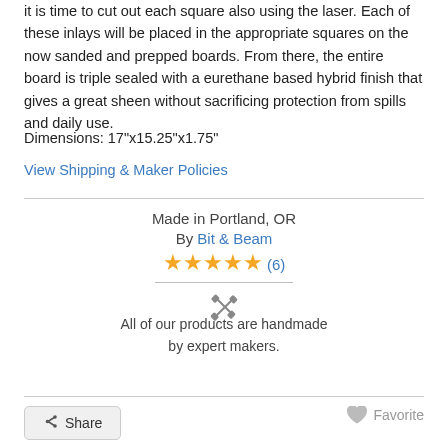it is time to cut out each square also using the laser. Each of these inlays will be placed in the appropriate squares on the now sanded and prepped boards. From there, the entire board is triple sealed with a eurethane based hybrid finish that gives a great sheen without sacrificing protection from spills and daily use.
Dimensions: 17"x15.25"x1.75"
View Shipping & Maker Policies
Made in Portland, OR
By Bit & Beam
★★★★★ (6)
All of our products are handmade by expert makers.
Share
Favorite